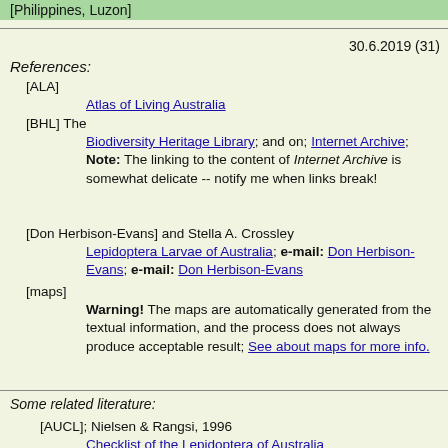[Philippines, Luzon]
30.6.2019 (31)
References:
[ALA]
    Atlas of Living Australia
[BHL] The
    Biodiversity Heritage Library; and on; Internet Archive; Note: The linking to the content of Internet Archive is somewhat delicate -- notify me when links break!
[Don Herbison-Evans] and Stella A. Crossley
    Lepidoptera Larvae of Australia; e-mail: Don Herbison-Evans; e-mail: Don Herbison-Evans
[maps]
    Warning! The maps are automatically generated from the textual information, and the process does not always produce acceptable result; See about maps for more info.
Some related literature:
[AUCL]; Nielsen & Rangsi, 1996
    Checklist of the Lepidoptera of Australia